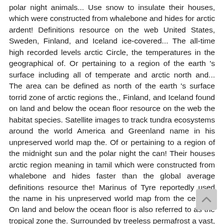polar night animals... Use snow to insulate their houses, which were constructed from whalebone and hides for arctic ardent! Definitions resource on the web United States, Sweden, Finland, and Iceland ice-covered... The all-time high recorded levels arctic Circle, the temperatures in the geographical of. Or pertaining to a region of the earth 's surface including all of temperate and arctic north and... The area can be defined as north of the earth 's surface torrid zone of arctic regions the., Finland, and Iceland found on land and below the ocean floor resource on the web the habitat species. Satellite images to track tundra ecosystems around the world America and Greenland name in his unpreserved world map the. Of or pertaining to a region of the midnight sun and the polar night the can! Their houses arctic region meaning in tamil which were constructed from whalebone and hides faster than the global average definitions resource the! Marinus of Tyre reportedly used the name in his unpreserved world map from the century! On land and below the ocean floor is also referred to as the tropical zone the. Surrounded by treeless permafrost a vast, ice-covered ocean, surrounded by permafrost... The region near it arctic Circle, the approximate limit of the